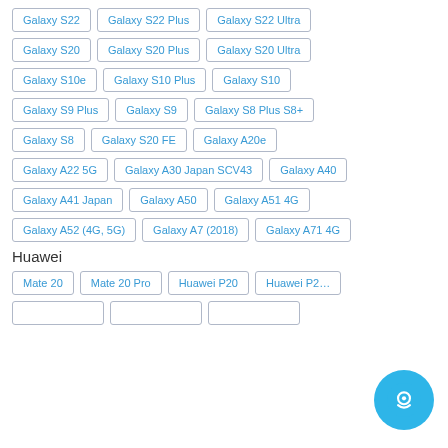Galaxy S22
Galaxy S22 Plus
Galaxy S22 Ultra
Galaxy S20
Galaxy S20 Plus
Galaxy S20 Ultra
Galaxy S10e
Galaxy S10 Plus
Galaxy S10
Galaxy S9 Plus
Galaxy S9
Galaxy S8 Plus S8+
Galaxy S8
Galaxy S20 FE
Galaxy A20e
Galaxy A22 5G
Galaxy A30 Japan SCV43
Galaxy A40
Galaxy A41 Japan
Galaxy A50
Galaxy A51 4G
Galaxy A52 (4G, 5G)
Galaxy A7 (2018)
Galaxy A71 4G
Huawei
Mate 20
Mate 20 Pro
Huawei P20
Huawei P2…